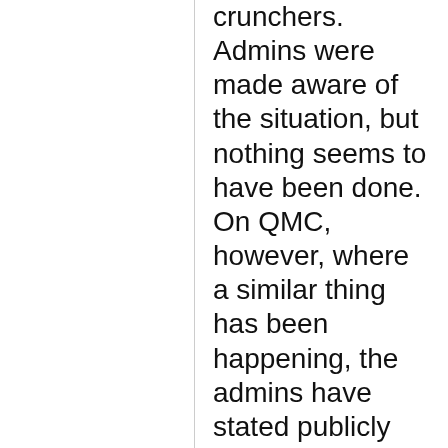crunchers. Admins were made aware of the situation, but nothing seems to have been done. On QMC, however, where a similar thing has been happening, the admins have stated publicly that something is going to be done - credits deducted! Nanohive is another project where this is happening. Most of this overclaiming is due to the use of Boinc 5.5.0 which is infamous for overclaiming. On a project where quorum 2